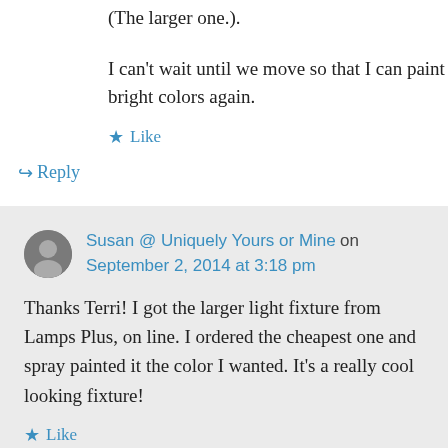(The larger one.).
I can't wait until we move so that I can paint bright colors again.
★ Like
↪ Reply
Susan @ Uniquely Yours or Mine on September 2, 2014 at 3:18 pm
Thanks Terri! I got the larger light fixture from Lamps Plus, on line. I ordered the cheapest one and spray painted it the color I wanted. It's a really cool looking fixture!
★ Like